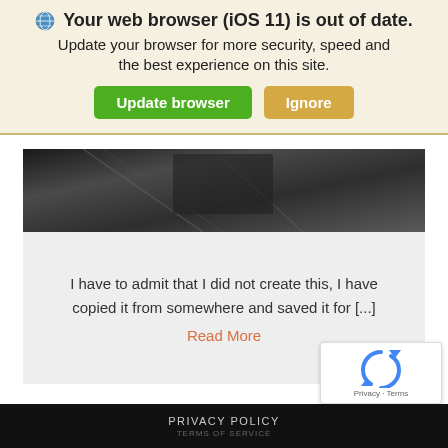Your web browser (iOS 11) is out of date.
Update your browser for more security, speed and the best experience on this site.
[Figure (screenshot): Browser update notification banner with Update browser (green) and Ignore (tan/gold) buttons]
[Figure (photo): Dark photo strip showing what appears to be a dark metallic or glass surface]
I have to admit that I did not create this, I have copied it from somewhere and saved it for [...]
Read More
[Figure (logo): Google reCAPTCHA badge with spinning arrows logo and Privacy - Terms text]
PRIVACY POLICY